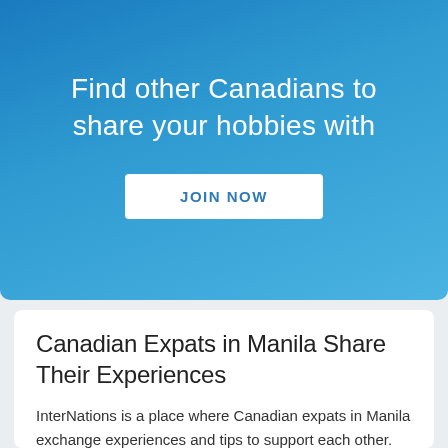Find other Canadians to share your hobbies with
[Figure (other): JOIN NOW button on blue gradient banner]
Canadian Expats in Manila Share Their Experiences
InterNations is a place where Canadian expats in Manila exchange experiences and tips to support each other. The "Pearl Of The Orient" can be a great place for expats - our community helps you make the most of your experience!
Browse our Members Network to get to know